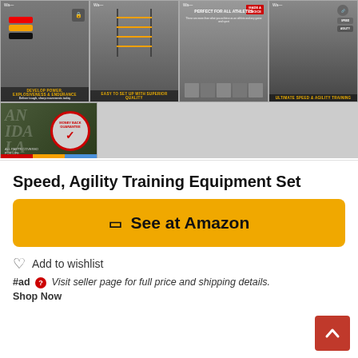[Figure (photo): Product image gallery showing 5 images of Speed Agility Training Equipment Set. Top row: 4 product images with captions 'DEVELOP POWER, EXPLOSIVENESS & ENDURANCE', 'EASY TO SET UP WITH SUPERIOR QUALITY', 'PERFECT FOR ALL ATHLETES', 'ULTIMATE SPEED & AGILITY TRAINING'. Bottom row: 1 image showing a money-back guarantee badge.]
Speed, Agility Training Equipment Set
See at Amazon
Add to wishlist
#ad ? Visit seller page for full price and shipping details. Shop Now